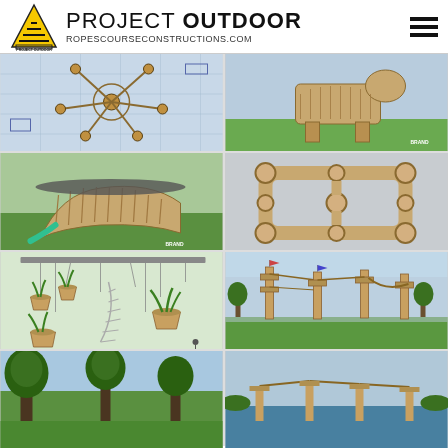PROJECT OUTDOOR — ROPESCOURSECONSTRUCTIONS.COM
[Figure (illustration): Top-view architectural/engineering blueprint of a rope course structure with wooden beams]
[Figure (illustration): 3D render of a large wooden animal-shaped playground structure on grass (BRAND logo)]
[Figure (illustration): 3D render of a curved wooden playhouse structure with slide on grass (BRAND logo)]
[Figure (illustration): 3D render of a modular rope/log tunnel playground structure aerial view]
[Figure (illustration): 3D render of a suspended garden structure with large terracotta pots and spiral staircase]
[Figure (illustration): 3D render of an outdoor adventure playground with tall wooden poles and rope courses]
[Figure (photo): Photo of trees and outdoor area — partially visible at bottom]
[Figure (photo): Photo of outdoor rope course installation — partially visible at bottom]